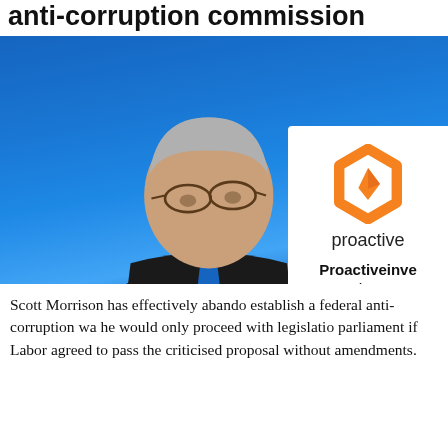anti-corruption commission
[Figure (photo): Photo of a middle-aged man with grey hair and glasses wearing a dark suit and blue tie, photographed from below against a bright blue sky background. A white overlay card in the bottom right shows the Proactive Investors logo (orange hexagon icon) and branding text reading 'proactive' and 'Proactiveinvestors'.]
Scott Morrison has effectively abandoned plans to establish a federal anti-corruption watchdog, saying he would only proceed with legislation through parliament if Labor agreed to pass the widely criticised proposal without amendments.